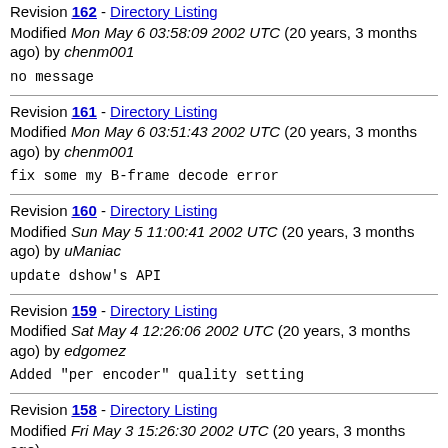Revision 162 - Directory Listing
Modified Mon May 6 03:58:09 2002 UTC (20 years, 3 months ago) by chenm001
no message
Revision 161 - Directory Listing
Modified Mon May 6 03:51:43 2002 UTC (20 years, 3 months ago) by chenm001
fix some my B-frame decode error
Revision 160 - Directory Listing
Modified Sun May 5 11:00:41 2002 UTC (20 years, 3 months ago) by uManiac
update dshow's API
Revision 159 - Directory Listing
Modified Sat May 4 12:26:06 2002 UTC (20 years, 3 months ago) by edgomez
Added "per encoder" quality setting
Revision 158 - Directory Listing
Modified Fri May 3 15:26:30 2002 UTC (20 years, 3 months ago)